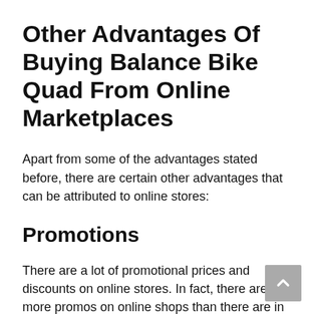Other Advantages Of Buying Balance Bike Quad From Online Marketplaces
Apart from some of the advantages stated before, there are certain other advantages that can be attributed to online stores:
Promotions
There are a lot of promotional prices and discounts on online stores. In fact, there are more promos on online shops than there are in retail shops. As these stores work simultaneously with multiple dealers at a time, a customer is able to avail a certain